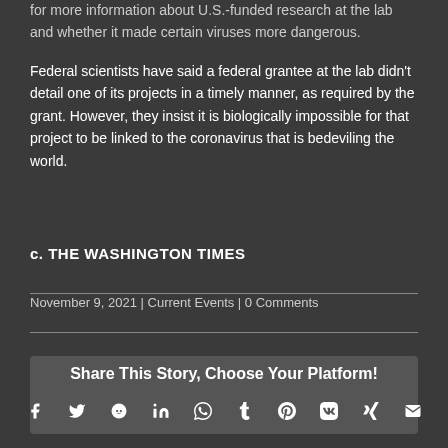for more information about U.S.-funded research at the lab and whether it made certain viruses more dangerous.
Federal scientists have said a federal grantee at the lab didn't detail one of its projects in a timely manner, as required by the grant. However, they insist it is biologically impossible for that project to be linked to the coronavirus that is bedeviling the world.
c. THE WASHINGTON TIMES
November 9, 2021 | Current Events | 0 Comments
Share This Story, Choose Your Platform!